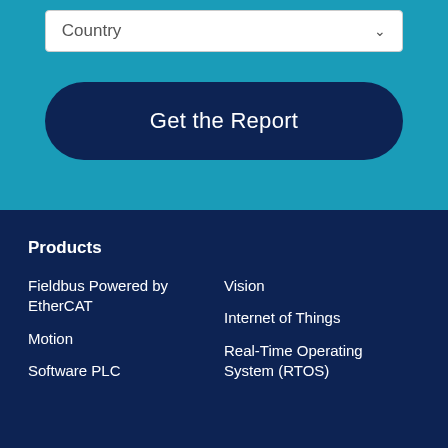Country
Get the Report
Products
Fieldbus Powered by EtherCAT
Motion
Software PLC
Vision
Internet of Things
Real-Time Operating System (RTOS)